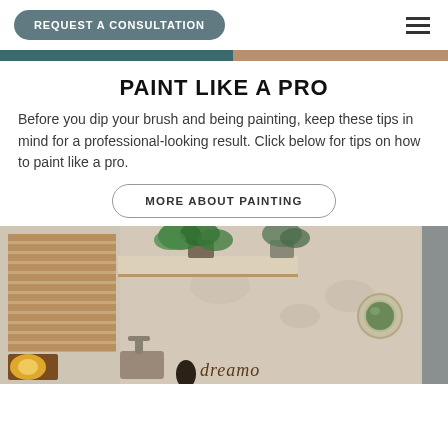REQUEST A CONSULTATION
PAINT LIKE A PRO
Before you dip your brush and being painting, keep these tips in mind for a professional-looking result. Click below for tips on how to paint like a pro.
MORE ABOUT PAINTING
[Figure (photo): Interior room photo showing a decorated wall with slatted wood panel, shelf with plant, decorative circle mirror, a wall lamp, and a sign reading 'dreamo']